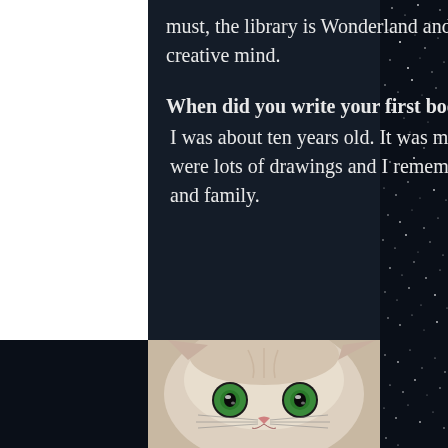must, the library is Wonderland and life never has a shortage of experiences to fuel the creative mind.
When did you write your first book and how old were you?
 I was about ten years old. It was my own take on superheroes and mythology. There were lots of drawings and I remember stapling multiple copies for gifts among friends and family.
[Figure (photo): Close-up photo of a white cat with striking green eyes, looking directly at the camera.]